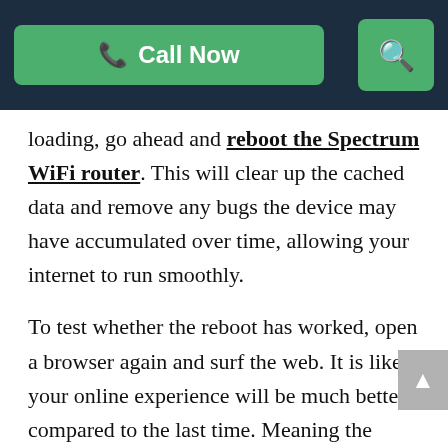Call Now | Search
loading, go ahead and reboot the Spectrum WiFi router. This will clear up the cached data and remove any bugs the device may have accumulated over time, allowing your internet to run smoothly.
To test whether the reboot has worked, open a browser again and surf the web. It is likely your online experience will be much better compared to the last time. Meaning the connectivity issue would be fixed. And, so would be the issue with the Spectrum RLP-1001 Error. Check by